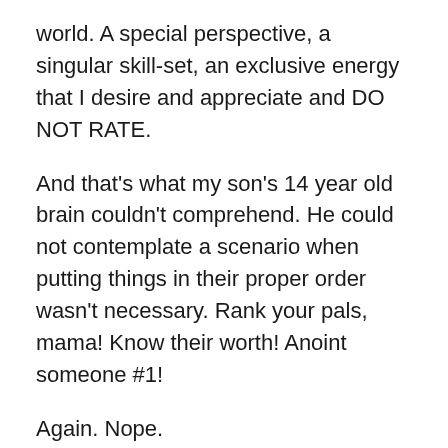world. A special perspective, a singular skill-set, an exclusive energy that I desire and appreciate and DO NOT RATE.
And that's what my son's 14 year old brain couldn't comprehend. He could not contemplate a scenario when putting things in their proper order wasn't necessary. Rank your pals, mama! Know their worth! Anoint someone #1!
Again. Nope.
I had no need to do that at the end of high school, I had no need to do that when my kid was a teenager and I still have no need to do that. There is no “best”. There is only “best for that moment” or “best for that purpose”.
When I need to dig deeper than I want to but know I need to, I go to J. If I needed someone to save my life or at the